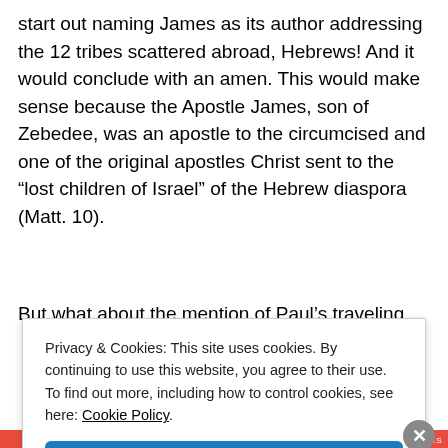start out naming James as its author addressing the 12 tribes scattered abroad, Hebrews! And it would conclude with an amen. This would make sense because the Apostle James, son of Zebedee, was an apostle to the circumcised and one of the original apostles Christ sent to the “lost children of Israel” of the Hebrew diaspora (Matt. 10).
But what about the mention of Paul’s traveling
Privacy & Cookies: This site uses cookies. By continuing to use this website, you agree to their use.
To find out more, including how to control cookies, see here: Cookie Policy
Close and accept